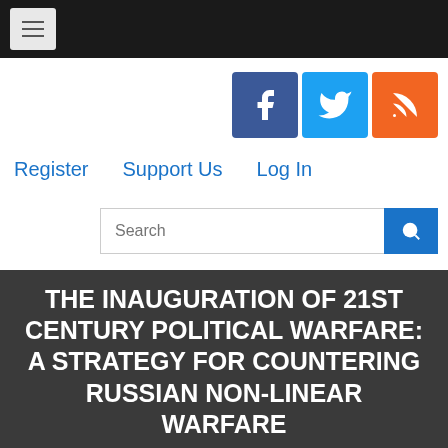[hamburger menu icon]
[Figure (logo): Facebook, Twitter, RSS social media icon buttons]
Register   Support Us   Log In
Search
[Figure (logo): Small Wars Journal logo with landscape photo and journal name]
THE INAUGURATION OF 21ST CENTURY POLITICAL WARFARE: A STRATEGY FOR COUNTERING RUSSIAN NON-LINEAR WARFARE